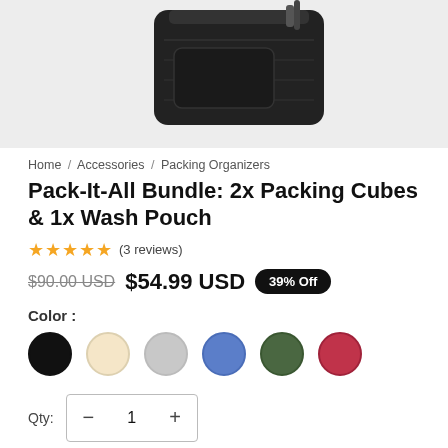[Figure (photo): Product photo of a black wash pouch/travel bag against a light gray background, partially visible at top of page.]
Home / Accessories / Packing Organizers
Pack-It-All Bundle: 2x Packing Cubes & 1x Wash Pouch
★★★★★ (3 reviews)
$90.00 USD  $54.99 USD  39% Off
Color :
[Figure (other): Six color swatches: Black, Cream, Gray, Blue, Green, Red]
Qty:  - 1 +
ADD TO CART   BUY NOW!